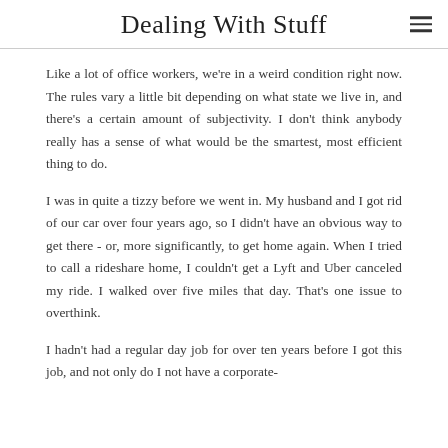Dealing With Stuff
Like a lot of office workers, we're in a weird condition right now. The rules vary a little bit depending on what state we live in, and there's a certain amount of subjectivity. I don't think anybody really has a sense of what would be the smartest, most efficient thing to do.
I was in quite a tizzy before we went in. My husband and I got rid of our car over four years ago, so I didn't have an obvious way to get there - or, more significantly, to get home again. When I tried to call a rideshare home, I couldn't get a Lyft and Uber canceled my ride. I walked over five miles that day. That's one issue to overthink.
I hadn't had a regular day job for over ten years before I got this job, and not only do I not have a corporate-